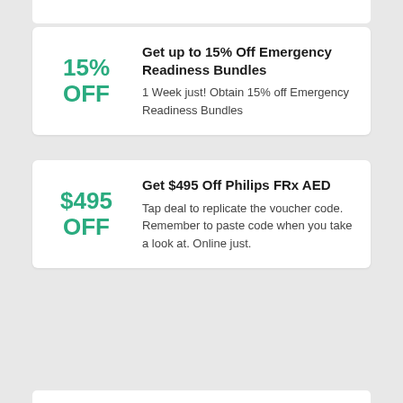15% OFF
Get up to 15% Off Emergency Readiness Bundles
1 Week just! Obtain 15% off Emergency Readiness Bundles
$495 OFF
Get $495 Off Philips FRx AED
Tap deal to replicate the voucher code. Remember to paste code when you take a look at. Online just.